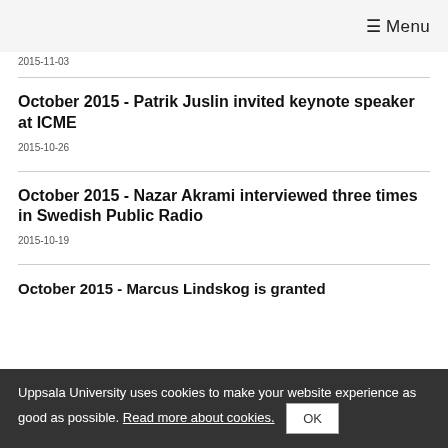≡ Menu
2015-11-03
October 2015 - Patrik Juslin invited keynote speaker at ICME
2015-10-26
October 2015 - Nazar Akrami interviewed three times in Swedish Public Radio
2015-10-19
October 2015 - Marcus Lindskog is granted
Uppsala University uses cookies to make your website experience as good as possible. Read more about cookies. OK